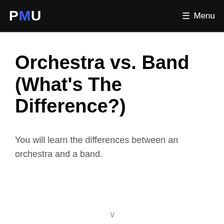PMV | Menu
Orchestra vs. Band (What's The Difference?)
You will learn the differences between an orchestra and a band.